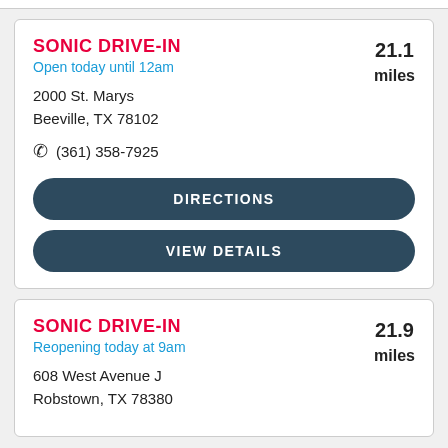SONIC DRIVE-IN
Open today until 12am
21.1 miles
2000 St. Marys
Beeville, TX 78102
(361) 358-7925
DIRECTIONS
VIEW DETAILS
SONIC DRIVE-IN
Reopening today at 9am
21.9 miles
608 West Avenue J
Robstown, TX 78380